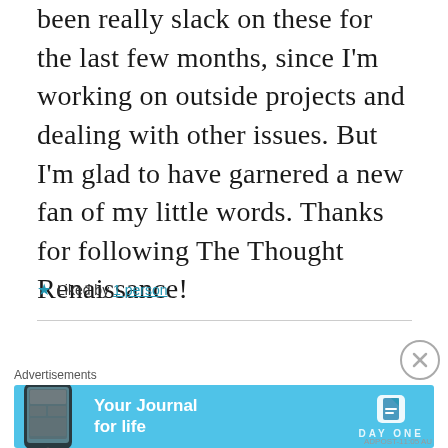been really slack on these for the last few months, since I'm working on outside projects and dealing with other issues. But I'm glad to have garnered a new fan of my little words. Thanks for following The Thought Renaissance!
★ Liked by 1 person
Advertisements
[Figure (screenshot): Day One app advertisement banner with text 'Your Journal for life' on a light blue background with a phone image and Day One logo]